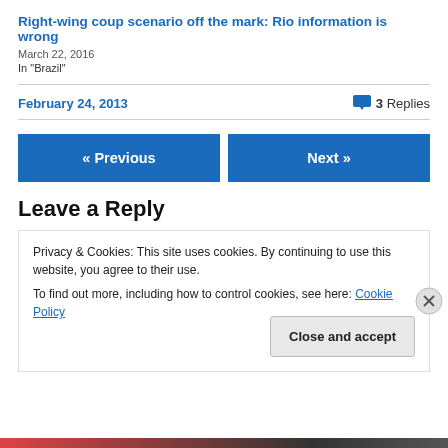Right-wing coup scenario off the mark: Rio information is wrong
March 22, 2016
In "Brazil"
February 24, 2013
3 Replies
« Previous
Next »
Leave a Reply
Privacy & Cookies: This site uses cookies. By continuing to use this website, you agree to their use.
To find out more, including how to control cookies, see here: Cookie Policy